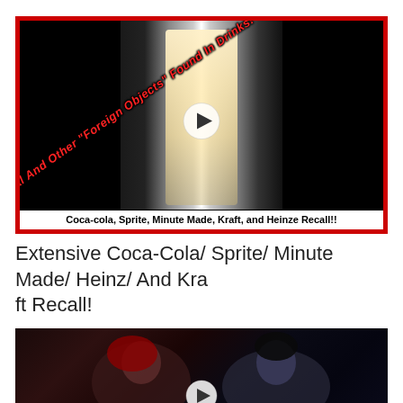[Figure (screenshot): Video thumbnail showing a refrigerator with food inside, dark background, red border, diagonal red text reading 'Metal And Other "Foreign Objects" Found In Drinks!', bottom caption 'Coca-cola, Sprite, Minute Made, Kraft, and Heinze Recall!!']
Extensive Coca-Cola/ Sprite/ Minute Made/ Heinz/ And Kraft Recall!
[Figure (screenshot): Video thumbnail showing two people looking up, dark reddish background, play button visible]